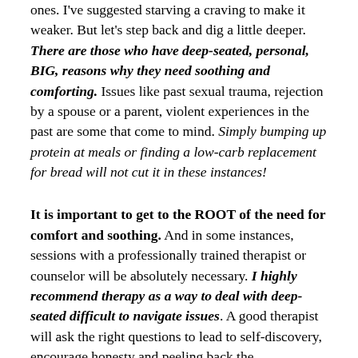ones. I've suggested starving a craving to make it weaker. But let's step back and dig a little deeper. There are those who have deep-seated, personal, BIG, reasons why they need soothing and comforting. Issues like past sexual trauma, rejection by a spouse or a parent, violent experiences in the past are some that come to mind. Simply bumping up protein at meals or finding a low-carb replacement for bread will not cut it in these instances!
It is important to get to the ROOT of the need for comfort and soothing. And in some instances, sessions with a professionally trained therapist or counselor will be absolutely necessary. I highly recommend therapy as a way to deal with deep-seated difficult to navigate issues. A good therapist will ask the right questions to lead to self-discovery, encourage honesty and peeling back the